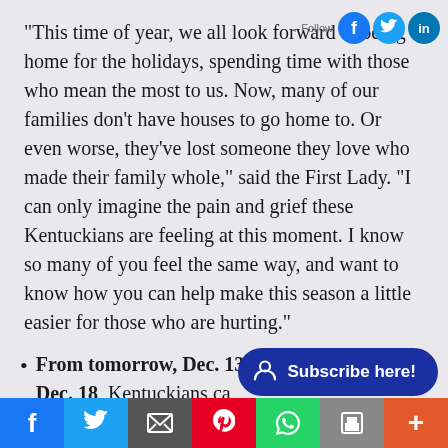“This time of year, we all look forward to being home for the holidays, spending time with those who mean the most to us. Now, many of our families don’t have houses to go home to. Or even worse, they’ve lost someone they love who made their family whole,” said the First Lady. “I can only imagine the pain and grief these Kentuckians are feeling at this moment. I know so many of you feel the same way, and want to know how you can help make this season a little easier for those who are hurting.”
From tomorrow, Dec. 13 – Dec. 18, Kentuckians ca…